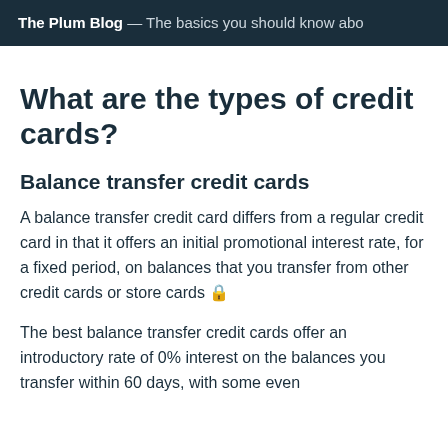The Plum Blog — The basics you should know abo
What are the types of credit cards?
Balance transfer credit cards
A balance transfer credit card differs from a regular credit card in that it offers an initial promotional interest rate, for a fixed period, on balances that you transfer from other credit cards or store cards 🔒
The best balance transfer credit cards offer an introductory rate of 0% interest on the balances you transfer within 60 days, with some even